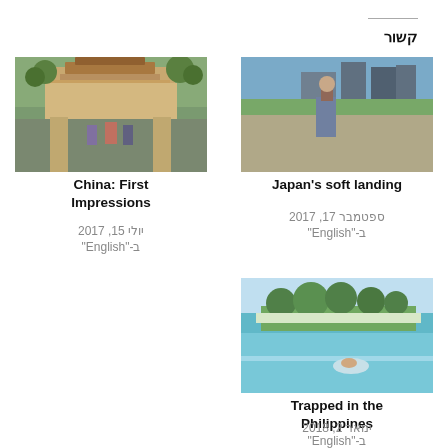קשור
[Figure (photo): Photo of a Chinese temple/pagoda building with people standing in front, surrounded by trees]
China: First Impressions
יולי 15, 2017
ב-"English"
[Figure (photo): Photo of a man standing in front of a city skyline near water, Japan]
Japan's soft landing
ספטמבר 17, 2017
ב-"English"
[Figure (photo): Photo of a person swimming in clear blue water near a tropical island with palm trees]
Trapped in the Philippines
ינואר 2, 2018
ב-"English"